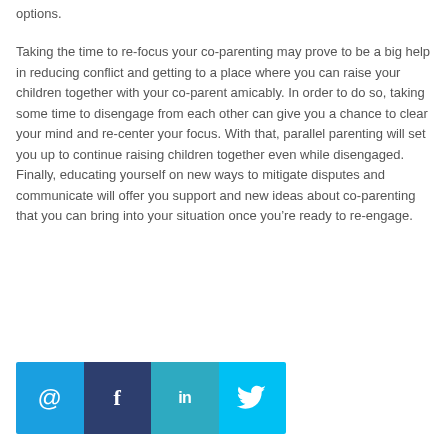options.
Taking the time to re-focus your co-parenting may prove to be a big help in reducing conflict and getting to a place where you can raise your children together with your co-parent amicably. In order to do so, taking some time to disengage from each other can give you a chance to clear your mind and re-center your focus. With that, parallel parenting will set you up to continue raising children together even while disengaged. Finally, educating yourself on new ways to mitigate disputes and communicate will offer you support and new ideas about co-parenting that you can bring into your situation once you’re ready to re-engage.
[Figure (other): Social media sharing buttons: email (@), Facebook (f), LinkedIn (in), Twitter (bird icon)]